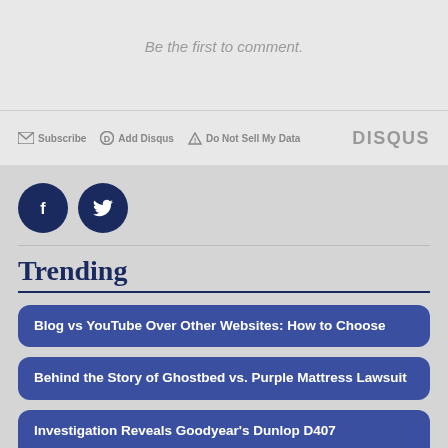Be the first to comment.
Subscribe  Add Disqus  Do Not Sell My Data  DISQUS
[Figure (other): Social media icons: Facebook and Twitter circular buttons in dark navy blue]
Trending
Blog vs YouTube Over Other Websites: How to Choose
Behind the Story of Ghostbed vs. Purple Mattress Lawsuit
Investigation Reveals Goodyear's Dunlop D407